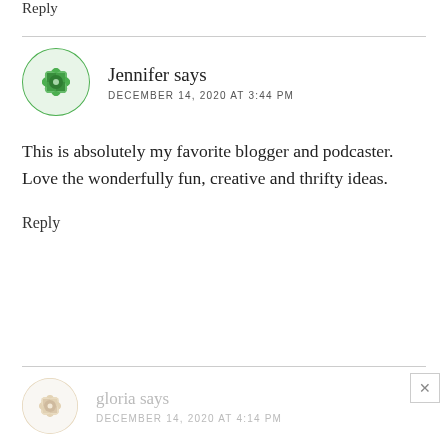Reply
Jennifer says
DECEMBER 14, 2020 AT 3:44 PM
This is absolutely my favorite blogger and podcaster. Love the wonderfully fun, creative and thrifty ideas.
Reply
gloria says
DECEMBER 14, 2020 AT 4:14 PM